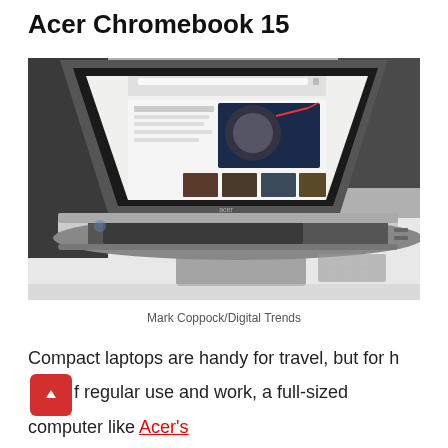Acer Chromebook 15
[Figure (photo): Photo of the Acer Chromebook 15 laptop open on a white desk, showing a web browser with images on the screen including a space/satellite photo and news thumbnails.]
Mark Coppock/Digital Trends
Compact laptops are handy for travel, but for home regular use and work, a full-sized computer like Acer's